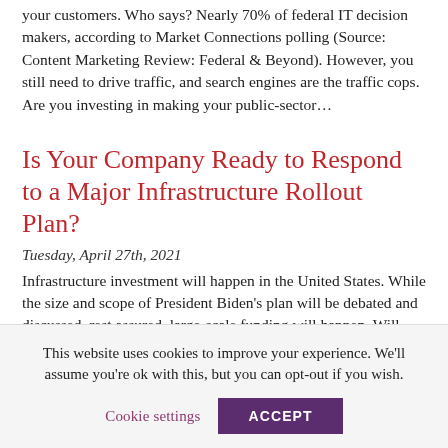your customers. Who says? Nearly 70% of federal IT decision makers, according to Market Connections polling (Source: Content Marketing Review: Federal & Beyond). However, you still need to drive traffic, and search engines are the traffic cops. Are you investing in making your public-sector…
Is Your Company Ready to Respond to a Major Infrastructure Rollout Plan?
Tuesday, April 27th, 2021
Infrastructure investment will happen in the United States. While the size and scope of President Biden's plan will be debated and discussed, rest assured, large-scale funding will happen. Will you be ready to be a partner in this effort for the next 5-10 years? How is your company positioned to help build
This website uses cookies to improve your experience. We'll assume you're ok with this, but you can opt-out if you wish.